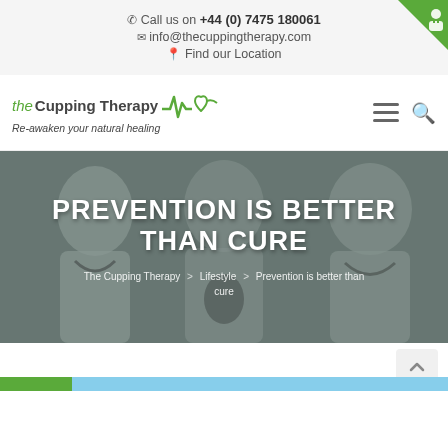Call us on +44 (0) 7475 180061 | info@thecuppingtherapy.com | Find our Location
[Figure (logo): The Cupping Therapy logo with heartbeat line and heart icon, tagline: Re-awaken your natural healing]
PREVENTION IS BETTER THAN CURE
The Cupping Therapy > Lifestyle > Prevention is better than cure
[Figure (photo): Medical professionals in white coats with stethoscopes forming hero background image]
[Figure (other): Scroll to top button and bottom strip with green and blue color blocks]